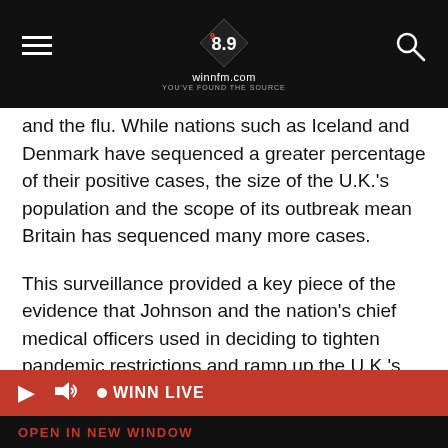winnfm.com
and the flu. While nations such as Iceland and Denmark have sequenced a greater percentage of their positive cases, the size of the U.K.'s population and the scope of its outbreak mean Britain has sequenced many more cases.
This surveillance provided a key piece of the evidence that Johnson and the nation's chief medical officers used in deciding to tighten pandemic restrictions and ramp up the U.K.'s vaccination program.
Johnson's Conservative government is bringing in vaccine certificates for nightclubs and reintroducing restrictions that were lifted almost s... worn in most indoor... urged to work from home if possible.